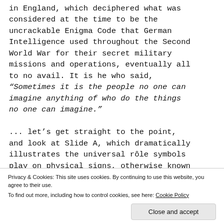in England, which deciphered what was considered at the time to be the uncrackable Enigma Code that German Intelligence used throughout the Second World War for their secret military missions and operations, eventually all to no avail. It is he who said, “Sometimes it is the people no one can imagine anything of who do the things no one can imagine.”

... let’s get straight to the point, and look at Slide A, which dramatically illustrates the universal rôle symbols play on physical signs, otherwise known
Privacy & Cookies: This site uses cookies. By continuing to use this website, you agree to their use.
To find out more, including how to control cookies, see here: Cookie Policy
Close and accept
Now you will notice that the